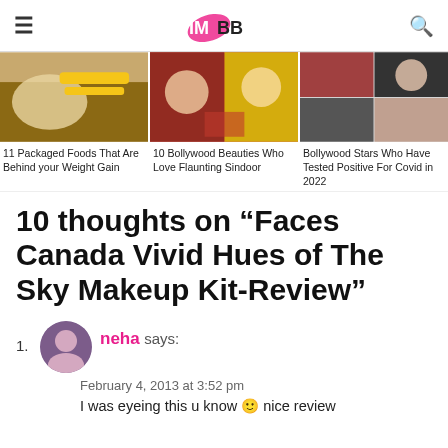IMBB
[Figure (photo): Three article thumbnail images: packaged foods/weight gain, Bollywood beauties/sindoor, Bollywood stars/Covid 2022]
11 Packaged Foods That Are Behind your Weight Gain
10 Bollywood Beauties Who Love Flaunting Sindoor
Bollywood Stars Who Have Tested Positive For Covid in 2022
10 thoughts on “Faces Canada Vivid Hues of The Sky Makeup Kit-Review”
1. neha says:
February 4, 2013 at 3:52 pm
I was eyeing this u know 🙂 nice review